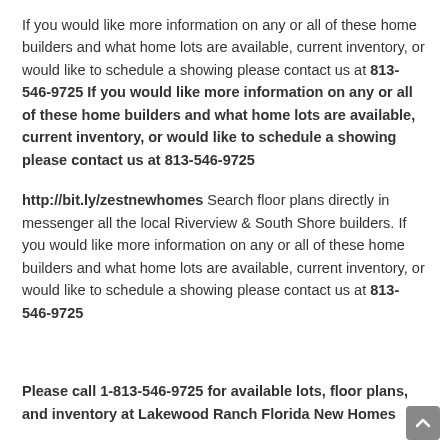If you would like more information on any or all of these home builders and what home lots are available, current inventory, or would like to schedule a showing please contact us at 813-546-9725 If you would like more information on any or all of these home builders and what home lots are available, current inventory, or would like to schedule a showing please contact us at 813-546-9725
http://bit.ly/zestnewhomes Search floor plans directly in messenger all the local Riverview & South Shore builders. If you would like more information on any or all of these home builders and what home lots are available, current inventory, or would like to schedule a showing please contact us at 813-546-9725
Please call 1-813-546-9725 for available lots, floor plans, and inventory at Lakewood Ranch Florida New Homes